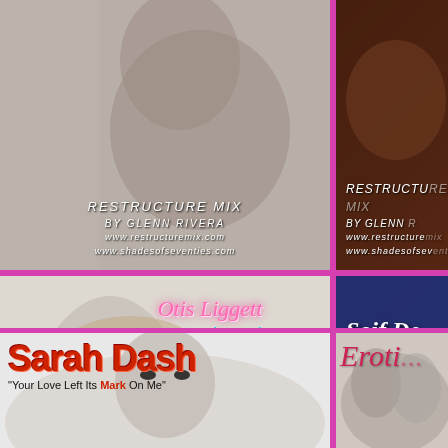[Figure (illustration): Top-left album cover: woman in gray tones, with Restructure Mix by Glenn Rivera text overlay]
RESTRUCTURE MIX
BY GLENN RIVERA
www.restructuremix.com
www.shadesofseventies.com
[Figure (illustration): Top-right album cover: dark brown tones, partially cropped, with Restructure Mix by Glenn Rivera text overlay]
RESTRUCTURE MIX
BY GLENN RIVERA
www.restructuremix.com
www.shadesofsev...
[Figure (illustration): Middle-left: Otis Liggett - Every Breath You Take album cover with woman's face and pink album box]
Otis Liggett
"Every Breath You Take"
RESTRUCTURE MIX
BY GLENN RIVERA
www.restructuremix.com
www.shadesofseventies.com
[Figure (illustration): Middle-right: Soif De album cover in blue tones with silhouetted figure]
Soif De
featuring Lym...
"Satis..."
[Figure (illustration): Bottom-left: Sarah Dash album cover with woman's face]
Sarah Dash
"Your Love Left Its Mark On Me"
[Figure (illustration): Bottom-right: Eroti... album cover partially visible]
Eroti...